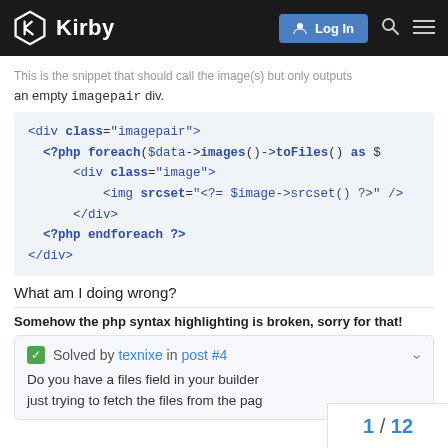Kirby — Log In
This is the snippet that should call the image(s) but only outputs an empty imagepair div.
[Figure (screenshot): Code block showing PHP/HTML template code with syntax highlighting: <div class="imagepair">, <?php foreach($data->images()->toFiles() as $..., <div class="image">, <img srcset="<?= $image->srcset() ?>" />, </div>, <?php endforeach ?>, </div>]
What am I doing wrong?
Somehow the php syntax highlighting is broken, sorry for that!
✓ Solved by texnixe in post #4
Do you have a files field in your builder just trying to fetch the files from the pag